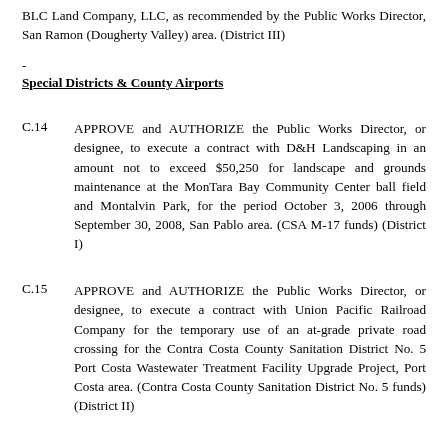BLC Land Company, LLC, as recommended by the Public Works Director, San Ramon (Dougherty Valley) area. (District III)
Special Districts & County Airports
C.14   APPROVE and AUTHORIZE the Public Works Director, or designee, to execute a contract with D&H Landscaping in an amount not to exceed $50,250 for landscape and grounds maintenance at the MonTara Bay Community Center ball field and Montalvin Park, for the period October 3, 2006 through September 30, 2008, San Pablo area. (CSA M-17 funds) (District I)
C.15   APPROVE and AUTHORIZE the Public Works Director, or designee, to execute a contract with Union Pacific Railroad Company for the temporary use of an at-grade private road crossing for the Contra Costa County Sanitation District No. 5 Port Costa Wastewater Treatment Facility Upgrade Project, Port Costa area. (Contra Costa County Sanitation District No. 5 funds) (District II)